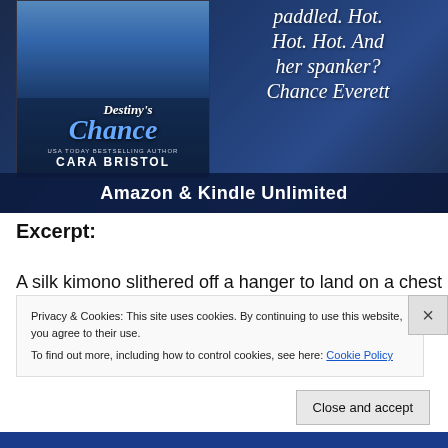[Figure (illustration): Book promotional banner with cover of 'Destiny's Chance' by Cara Bristol (USA Today Bestselling Author) on the left with a dark blue background, and italic script text on the right reading 'paddled. Hot. Hot. Hot. And her spanker? Chance Everett'. Below the banner is 'Amazon & Kindle Unlimited' in bold white text.]
Excerpt:
A silk kimono slithered off a hanger to land on a chest on
Privacy & Cookies: This site uses cookies. By continuing to use this website, you agree to their use.
To find out more, including how to control cookies, see here: Cookie Policy
Close and accept